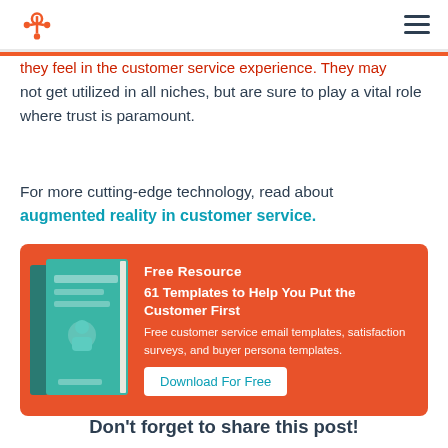HubSpot logo and navigation
not get utilized in all niches, but are sure to play a vital role where trust is paramount.
For more cutting-edge technology, read about augmented reality in customer service.
[Figure (infographic): Orange CTA banner with book image. Free Resource: 61 Templates to Help You Put the Customer First. Free customer service email templates, satisfaction surveys, and buyer persona templates. Download For Free button.]
Don't forget to share this post!